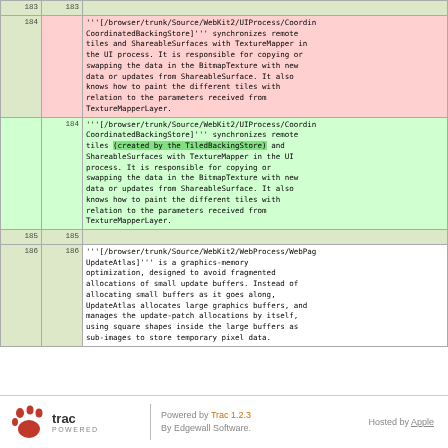|  |  | Content |
| --- | --- | --- |
| 183 | 183 |  |
| 184 |  | '''[/browser/trunk/Source/WebKit2/UIProcess/Coord... CoordinatedBackingStore]''' synchronizes remote tiles and ShareableSurfaces with TextureMapper in the UI process. It is responsible for copying or swapping the data in the BitmapTexture with new data or updates from ShareableSurface. It also knows how to paint the different tiles with relation to the parameters received from TextureMapperLayer. |
|  | 184 | '''[/browser/trunk/Source/WebKit2/UIProcess/Coord... CoordinatedBackingStore]''' synchronizes remote tiles (created by the TiledBackingStore) and ShareableSurfaces with TextureMapper in the UI process. It is responsible for copying or swapping the data in the BitmapTexture with new data or updates from ShareableSurface. It also knows how to paint the different tiles with relation to the parameters received from TextureMapperLayer. |
| 185 | 185 |  |
| 186 | 186 | '''[/browser/trunk/Source/WebKit2/WebProcess/WebPag... UpdateAtlas]''' is a graphics-memory optimization, designed to avoid fragmented allocations of small update buffers. Instead of allocating small buffers as it goes along, UpdateAtlas allocates large graphics buffers, and manages the update-patch allocations by itself, using square shapes inside the large buffers as sub-images to store temporary pixel data. |
[Figure (logo): Trac powered logo with paw print]
Powered by Trac 1.2.3 By Edgewall Software. | Hosted by Apple